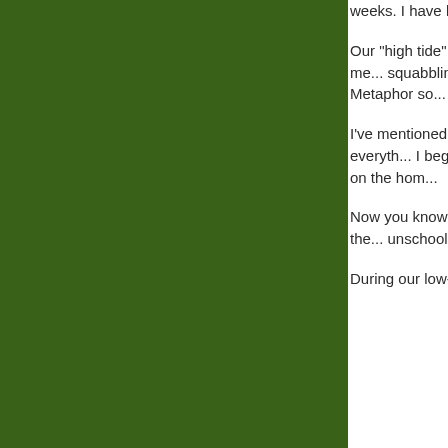[Figure (illustration): Large dark green rectangular panel on the left side of the page]
weeks. I have learned fabled wrenches in a little tweaking.
Our "high tide" Cha... a bit off kilter. Scot... to our rhythm of me... squabbling with ea... cue for me to shift ... today. Metaphor so...
I've mentioned bef... John Holt and San... her take on everyth... I began to ponder ... from school; and t... lurking on the hom...
Now you know tha... the Charlotte Maso... too, envisioned the... unschoolers. And t... "Because I think it's...
During our low-tide...